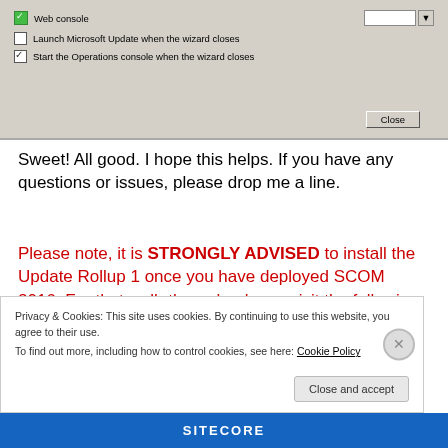[Figure (screenshot): Screenshot of a Windows dialog box showing Web console option checked (green checkbox), 'Launch Microsoft Update when the wizard closes' unchecked, 'Start the Operations console when the wizard closes' checked, and a Close button.]
Sweet! All good. I hope this helps. If you have any questions or issues, please drop me a line.
Please note, it is STRONGLY ADVISED to install the Update Rollup 1 once you have deployed SCOM 2016. For that walk-through, please visit the following post, HERE.
Privacy & Cookies: This site uses cookies. By continuing to use this website, you agree to their use.
To find out more, including how to control cookies, see here: Cookie Policy